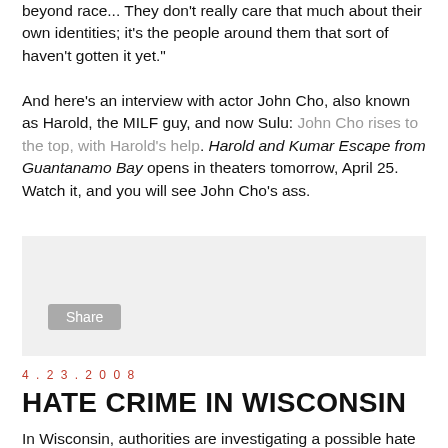beyond race... They don't really care that much about their own identities; it's the people around them that sort of haven't gotten it yet."

And here's an interview with actor John Cho, also known as Harold, the MILF guy, and now Sulu: John Cho rises to the top, with Harold's help. Harold and Kumar Escape from Guantanamo Bay opens in theaters tomorrow, April 25. Watch it, and you will see John Cho's ass.
[Figure (screenshot): A light gray social share widget box with a 'Share' button]
4.23.2008
HATE CRIME IN WISCONSIN
In Wisconsin, authorities are investigating a possible hate crime after a Hmong family's truck was set on fire and spray painted with the letters "KKK": Possible hate crime in